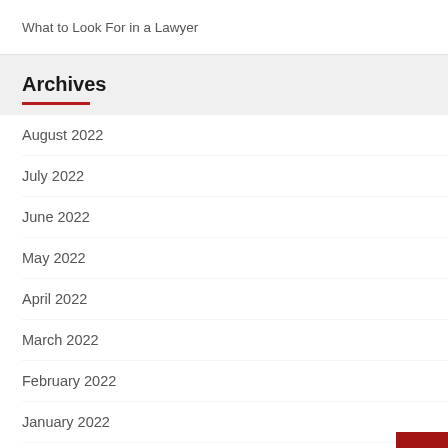What to Look For in a Lawyer
Archives
August 2022
July 2022
June 2022
May 2022
April 2022
March 2022
February 2022
January 2022
December 2021